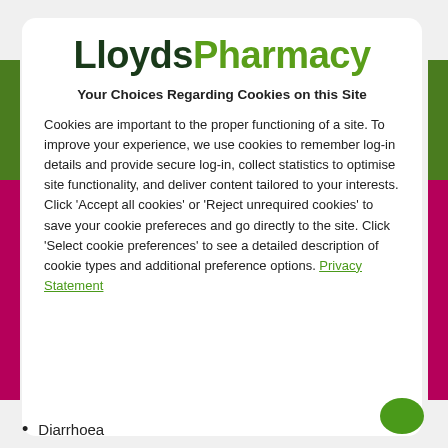[Figure (logo): LloydPharmacy logo with 'Lloyds' in dark green/black bold and 'Pharmacy' in bright green bold]
Your Choices Regarding Cookies on this Site
Cookies are important to the proper functioning of a site. To improve your experience, we use cookies to remember log-in details and provide secure log-in, collect statistics to optimise site functionality, and deliver content tailored to your interests. Click 'Accept all cookies' or 'Reject unrequired cookies' to save your cookie prefereces and go directly to the site. Click 'Select cookie preferences' to see a detailed description of cookie types and additional preference options. Privacy Statement
Diarrhoea